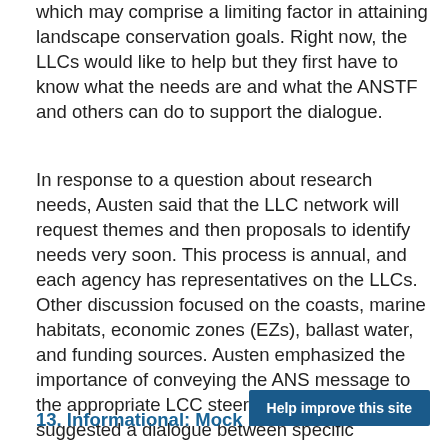which may comprise a limiting factor in attaining landscape conservation goals. Right now, the LLCs would like to help but they first have to know what the needs are and what the ANSTF and others can do to support the dialogue.
In response to a question about research needs, Austen said that the LLC network will request themes and then proposals to identify needs very soon. This process is annual, and each agency has representatives on the LLCs. Other discussion focused on the coasts, marine habitats, economic zones (EZs), ballast water, and funding sources. Austen emphasized the importance of conveying the ANS message to the appropriate LCC steering committee. Brady suggested a dialogue between specific members of the ANSTF, NISC, and Austen and his team to discuss potential interactions.
13. Informational: Mock Incident